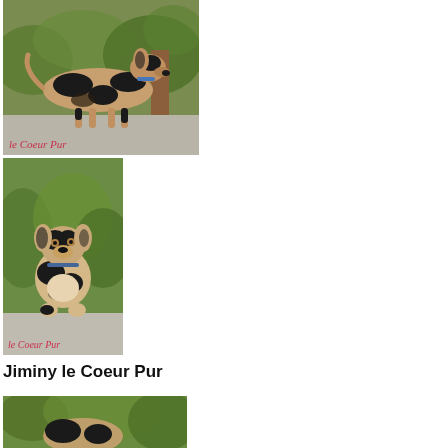[Figure (photo): Adult Catahoula Leopard Dog standing on a stone ledge outdoors, with merle/spotted black and tan coat. Watermark text 'le Coeur Pur' in red italic at bottom left of image.]
[Figure (photo): Catahoula Leopard Dog puppy sitting on a stone ledge outdoors, merle/spotted coat. Watermark text 'le Coeur Pur' in red italic at bottom left of image.]
Jiminy le Coeur Pur
[Figure (photo): Partial view of a Catahoula dog outdoors with green foliage background.]